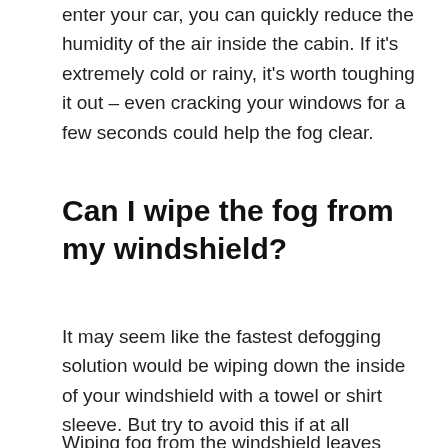enter your car, you can quickly reduce the humidity of the air inside the cabin. If it's extremely cold or rainy, it's worth toughing it out – even cracking your windows for a few seconds could help the fog clear.
Can I wipe the fog from my windshield?
It may seem like the fastest defogging solution would be wiping down the inside of your windshield with a towel or shirt sleeve. But try to avoid this if at all possible.
Wiping fog from the windshield leaves streaks...